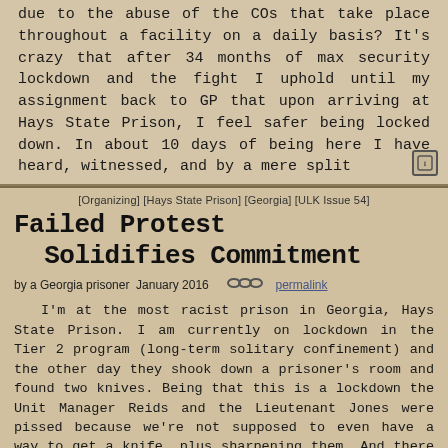due to the abuse of the COs that take place throughout a facility on a daily basis? It's crazy that after 34 months of max security lockdown and the fight I uphold until my assignment back to GP that upon arriving at Hays State Prison, I feel safer being locked down. In about 10 days of being here I have heard, witnessed, and by a mere split
[Organizing] [Hays State Prison] [Georgia] [ULK Issue 54]
Failed Protest Solidifies Commitment
by a Georgia prisoner January 2016  permalink
I'm at the most racist prison in Georgia, Hays State Prison. I am currently on lockdown in the Tier 2 program (long-term solitary confinement) and the other day they shook down a prisoner's room and found two knives. Being that this is a lockdown the Unit Manager Reids and the Lieutenant Jones were pissed because we're not supposed to even have a way to get a knife, plus sharpening them. And there are 7 or 8 cameras in the dorm, so they can't hide this like
[Legal] [Political Repression] [Hays State Prison] [Georgia]
No Citizens' Rights for Prisoners